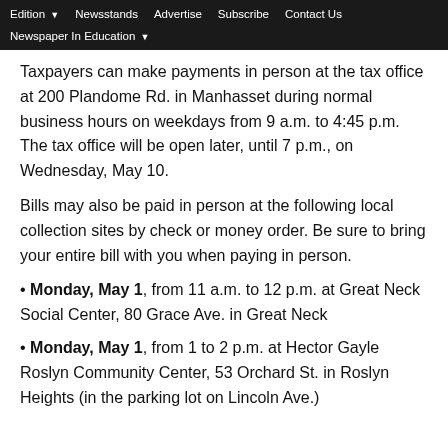Edition  Newsstands  Advertise  Subscribe  Contact Us  Newspaper In Education
Taxpayers can make payments in person at the tax office at 200 Plandome Rd. in Manhasset during normal business hours on weekdays from 9 a.m. to 4:45 p.m. The tax office will be open later, until 7 p.m., on Wednesday, May 10.
Bills may also be paid in person at the following local collection sites by check or money order. Be sure to bring your entire bill with you when paying in person.
Monday, May 1, from 11 a.m. to 12 p.m. at Great Neck Social Center, 80 Grace Ave. in Great Neck
Monday, May 1, from 1 to 2 p.m. at Hector Gayle Roslyn Community Center, 53 Orchard St. in Roslyn Heights (in the parking lot on Lincoln Ave.)